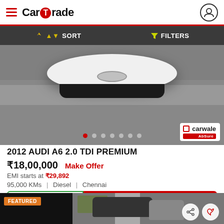CarTrade
SORT   FILTERS
[Figure (photo): Close-up photo of a white car's front bumper on a grey road surface, viewed from front-low angle. CarWale AbSure badge visible in the bottom right corner. Dot navigation indicators shown along the bottom of the image.]
2012 AUDI A6 2.0 TDI PREMIUM
₹18,00,000   Make Offer
EMI starts at ₹29,892
95,000 KMs  |  Diesel  |  Chennai
CHAT   CONTACT SELLER
[Figure (photo): Featured used car listing showing a dark-colored car viewed from above/front, with other cars visible in a parking area in the background. Share and heart/favorite action buttons visible at bottom right.]